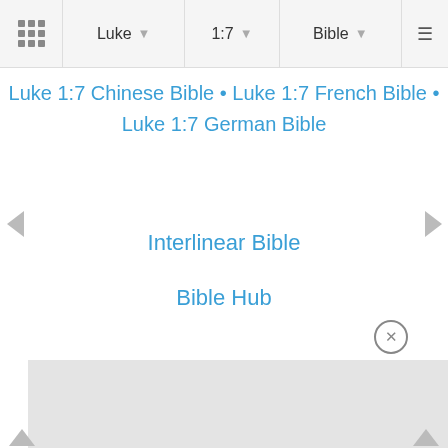Luke | 1:7 | Bible
Luke 1:7 Chinese Bible • Luke 1:7 French Bible • Luke 1:7 German Bible
Interlinear Bible
Bible Hub